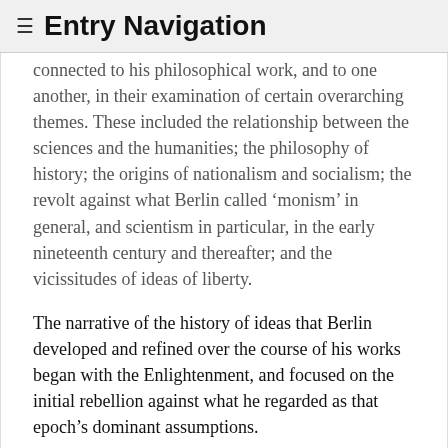≡ Entry Navigation
connected to his philosophical work, and to one another, in their examination of certain overarching themes. These included the relationship between the sciences and the humanities; the philosophy of history; the origins of nationalism and socialism; the revolt against what Berlin called 'monism' in general, and scientism in particular, in the early nineteenth century and thereafter; and the vicissitudes of ideas of liberty.
The narrative of the history of ideas that Berlin developed and refined over the course of his works began with the Enlightenment, and focused on the initial rebellion against what he regarded as that epoch's dominant assumptions. [10]
In Berlin's account, the thinkers of the Enlightenment believed human beings to be naturally either benevolent or malleable. This created a tension within Enlightenment thought between the view that nature dictates human ends, and the view that nature provides more or less neutral material, to be moulded rationally and